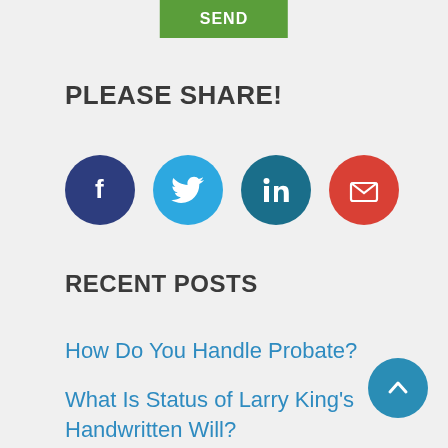SEND
PLEASE SHARE!
[Figure (infographic): Four social sharing icon circles: Facebook (dark blue), Twitter (light blue), LinkedIn (teal), Email (red)]
RECENT POSTS
How Do You Handle Probate?
What Is Status of Larry King's Handwritten Will?